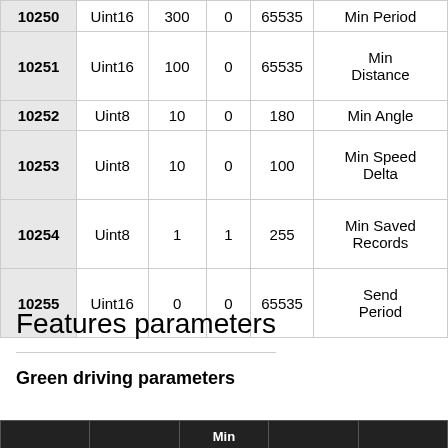| ID | Type | Default | Min | Max | Description |
| --- | --- | --- | --- | --- | --- |
| 10250 | Uint16 | 300 | 0 | 65535 | Min Period |
| 10251 | Uint16 | 100 | 0 | 65535 | Min Distance |
| 10252 | Uint8 | 10 | 0 | 180 | Min Angle |
| 10253 | Uint8 | 10 | 0 | 100 | Min Speed Delta |
| 10254 | Uint8 | 1 | 1 | 255 | Min Saved Records |
| 10255 | Uint16 | 0 | 0 | 65535 | Send Period |
Features parameters
Green driving parameters